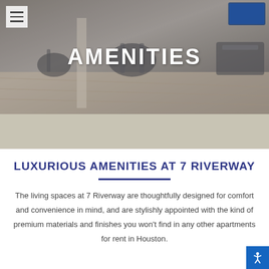[Figure (photo): Gym/fitness center interior with exercise equipment including treadmills and elliptical machines on a light wood floor, with a TV screen visible in upper right corner.]
AMENITIES
LUXURIOUS AMENITIES AT 7 RIVERWAY
The living spaces at 7 Riverway are thoughtfully designed for comfort and convenience in mind, and are stylishly appointed with the kind of premium materials and finishes you won't find in any other apartments for rent in Houston.